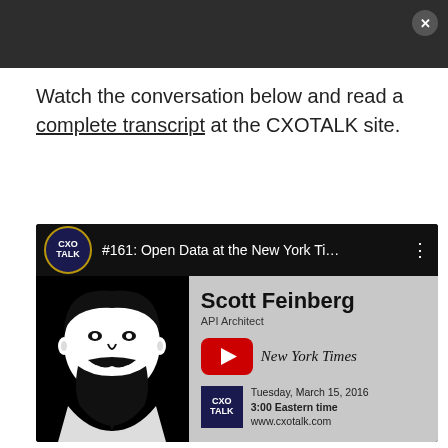Watch the conversation below and read a complete transcript at the CXOTALK site.
[Figure (screenshot): YouTube video embed thumbnail for CXOTalk episode #161: Open Data at the New York Ti... featuring Scott Feinberg, API Architect, with New York Times logo and YouTube play button. Shows date: Tuesday, March 15, 2016, 3:00 Eastern time, www.cxotalk.com]